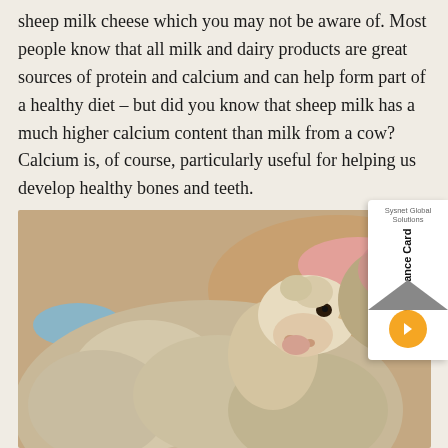sheep milk cheese which you may not be aware of. Most people know that all milk and dairy products are great sources of protein and calcium and can help form part of a healthy diet – but did you know that sheep milk has a much higher calcium content than milk from a cow? Calcium is, of course, particularly useful for helping us develop healthy bones and teeth.
[Figure (photo): Close-up photograph of a sheep's face and wool, with other sheep visible in the background. Sheep have coloured wool markings (blue and pink/red) visible on their backs.]